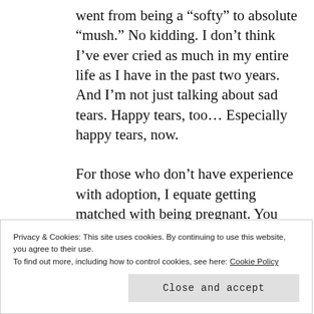went from being a “softy” to absolute “mush.” No kidding. I don’t think I’ve ever cried as much in my entire life as I have in the past two years. And I’m not just talking about sad tears. Happy tears, too… Especially happy tears, now.
For those who don’t have experience with adoption, I equate getting matched with being pregnant. You know you have a
Privacy & Cookies: This site uses cookies. By continuing to use this website, you agree to their use.
To find out more, including how to control cookies, see here: Cookie Policy